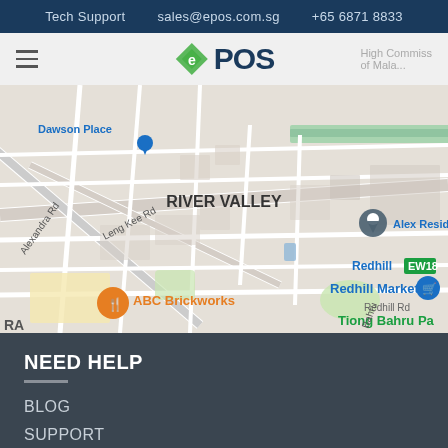Tech Support   sales@epos.com.sg   +65 6871 8833
[Figure (screenshot): ePOS website navigation bar with hamburger menu icon and ePOS logo (green diamond + dark blue text)]
[Figure (map): Google Maps screenshot showing River Valley area in Singapore, with markers for ABC Brickworks, Redhill Market (EW18), Alex Residence, Tiong Bahru Pa, and roads including Alexandra Rd, Leng Kee Rd, Redhill Rd, Buona Vista area.]
NEED HELP
BLOG
SUPPORT
FIND US ONLINE